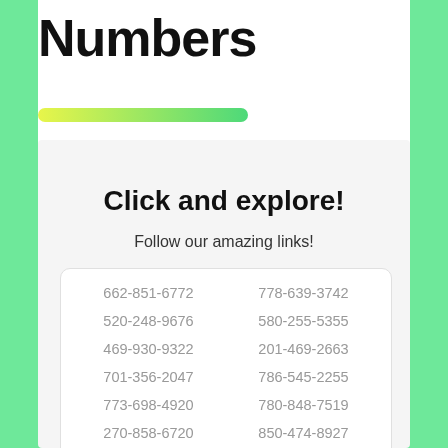Numbers
Click and explore!
Follow our amazing links!
662-851-6772
778-639-3742
520-248-9676
580-255-5355
469-930-9322
201-469-2663
701-356-2047
786-545-2255
773-698-4920
780-848-7519
270-858-6720
850-474-8927
843-436-7136
662-425-7807
678-735-4629
719-645-5256